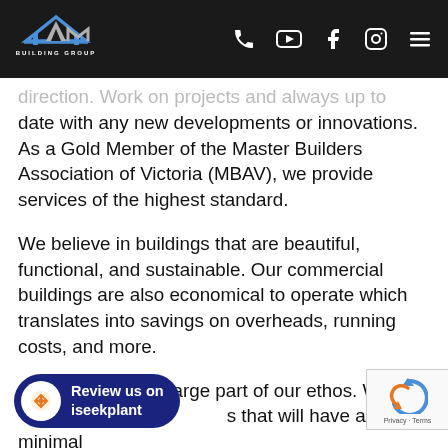AIM Building Group header with logo and navigation icons (phone, YouTube, Facebook, Instagram, menu)
direction. Work on projects and always up to date with any new developments or innovations. As a Gold Member of the Master Builders Association of Victoria (MBAV), we provide services of the highest standard.
We believe in buildings that are beautiful, functional, and sustainable. Our commercial buildings are also economical to operate which translates into savings on overheads, running costs, and more.
Sustainability is a large part of our ethos. We [build buildings] that will have a minimal [impact on the env]ironment, focusing on adequate passive solar orientation design,